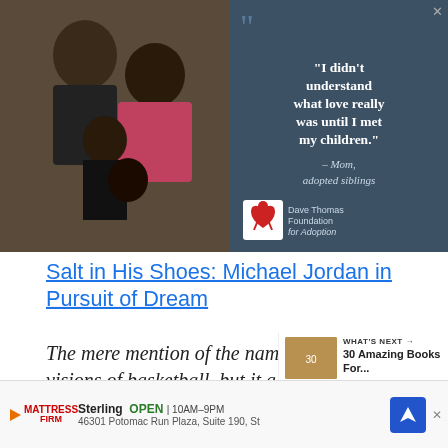[Figure (photo): Advertisement banner: A family photo of a Black family (man, woman, two children) smiling together, next to a teal/dark blue panel with a quote: 'I didn't understand what love really was until I met my children.' — Mom, adopted siblings. Dave Thomas Foundation for Adoption logo at bottom. Close X button top right.]
Salt in His Shoes: Michael Jordan in Pursuit of Dream
The mere mention of the name conjures up visions of basketball, but it also has a lot to say. But as a child, the...dreams,
[Figure (infographic): WHAT'S NEXT panel with thumbnail image: 30 Amazing Books For...]
[Figure (other): Bottom advertisement bar: Mattress Firm logo, Sterling store, OPEN 10AM-9PM, 46301 Potomac Run Plaza, Suite 190, St. Navigation/map icon on right. X close button.]